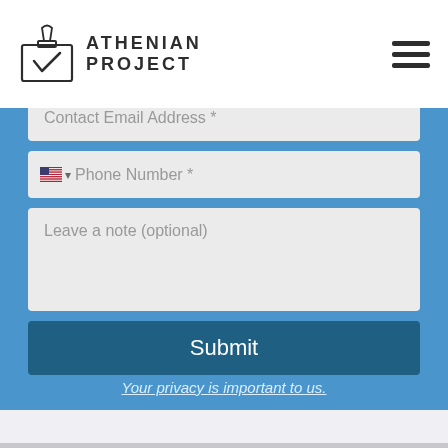[Figure (logo): Athenian Project logo with ballot box icon and text ATHENIAN PROJECT]
[Figure (other): Hamburger menu icon (three horizontal lines)]
Contact Email Address *
Phone Number *
Leave a note (optional)
Submit
Your privacy is important to us.